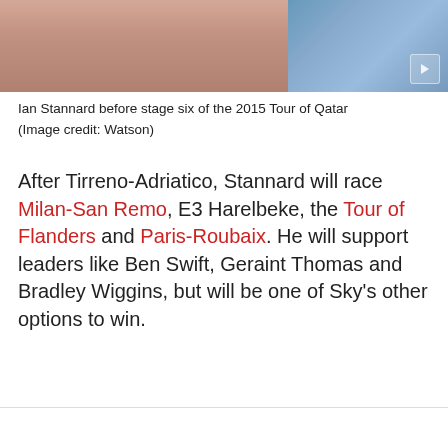[Figure (photo): Photo of Ian Stannard before stage six of the 2015 Tour of Qatar, showing a cropped upper body view with a blue striped background on the right side. A play button icon is visible in the bottom right corner.]
Ian Stannard before stage six of the 2015 Tour of Qatar
(Image credit: Watson)
After Tirreno-Adriatico, Stannard will race Milan-San Remo, E3 Harelbeke, the Tour of Flanders and Paris-Roubaix. He will support leaders like Ben Swift, Geraint Thomas and Bradley Wiggins, but will be one of Sky's other options to win.